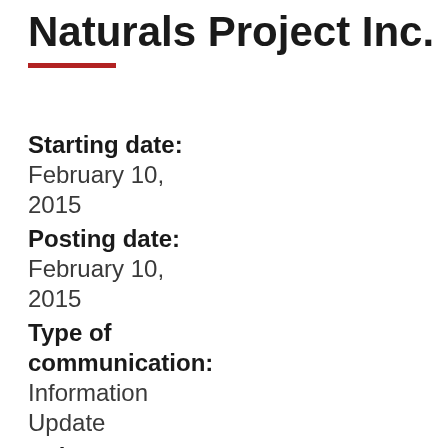Naturals Project Inc.
Starting date: February 10, 2015
Posting date: February 10, 2015
Type of communication: Information Update
Subcategory: Drugs
Source of recall: